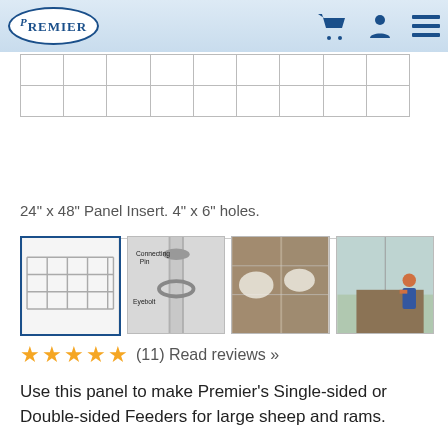Premier — navigation header with cart, account, and menu icons
[Figure (other): Grid panel insert product image showing 2 rows of rectangular cells, approximately 9 columns wide]
24" x 48" Panel Insert. 4" x 6" holes.
[Figure (other): Four thumbnail images: 1) wire panel grid, 2) connecting pin and eyebolt close-up, 3) sheep at feeder, 4) person feeding sheep in barn]
★★★★★ (11) Read reviews »
Use this panel to make Premier's Single-sided or Double-sided Feeders for large sheep and rams.